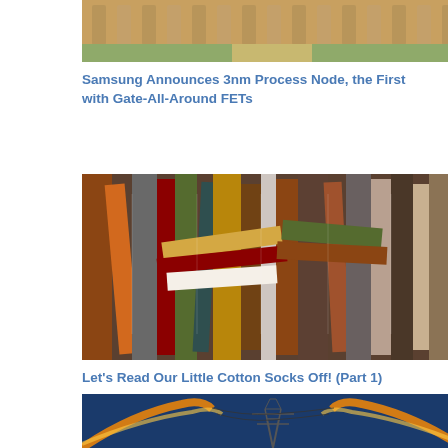[Figure (photo): Partial view of a classical building with columns and a pathway, cut off at top]
Samsung Announces 3nm Process Node, the First with Gate-All-Around FETs
[Figure (photo): A dense collection of old books stacked and arranged in various orientations]
Let's Read Our Little Cotton Socks Off! (Part 1)
[Figure (photo): An electricity transmission tower with dramatic lightning or light streaks against a blue sky, partially visible at bottom]